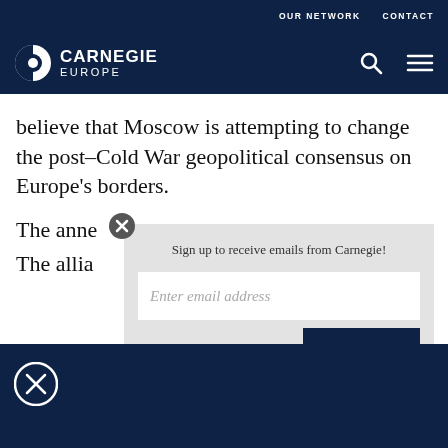OUR NETWORK   CONTACT
CARNEGIE EUROPE
believe that Moscow is attempting to change the post–Cold War geopolitical consensus on Europe's borders.
Sign up to receive emails from Carnegie!
Enter email address
SUBMIT ▶
The anne
The allia